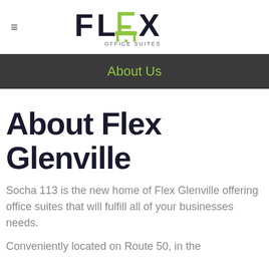[Figure (logo): Flex Office Suites logo with stylized FLEX text in black and green, with office chair icon and 'OFFICE SUITES' text below]
About Us
About Flex Glenville
Socha 113 is the new home of Flex Glenville offering office suites that will fulfill all of your businesses needs.
Conveniently located on Route 50, in the...